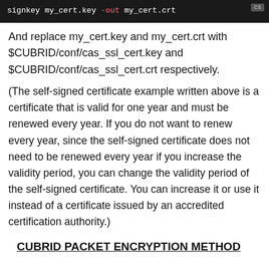[Figure (screenshot): Dark terminal/code block showing shell command: signkey my_cert.key -out my_cert.crt with a 'cs' badge in top-right corner]
And replace my_cert.key and my_cert.crt with $CUBRID/conf/cas_ssl_cert.key and $CUBRID/conf/cas_ssl_cert.crt respectively.
(The self-signed certificate example written above is a certificate that is valid for one year and must be renewed every year. If you do not want to renew every year, since the self-signed certificate does not need to be renewed every year if you increase the validity period, you can change the validity period of the self-signed certificate. You can increase it or use it instead of a certificate issued by an accredited certification authority.)
CUBRID PACKET ENCRYPTION METHOD